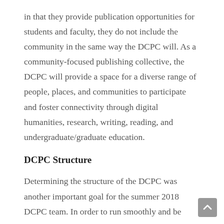in that they provide publication opportunities for students and faculty, they do not include the community in the same way the DCPC will. As a community-focused publishing collective, the DCPC will provide a space for a diverse range of people, places, and communities to participate and foster connectivity through digital humanities, research, writing, reading, and undergraduate/graduate education.
DCPC Structure
Determining the structure of the DCPC was another important goal for the summer 2018 DCPC team. In order to run smoothly and be